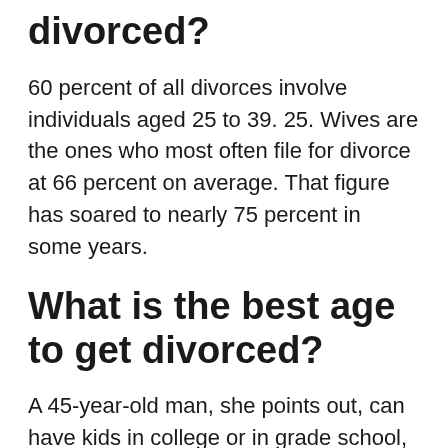divorced?
60 percent of all divorces involve individuals aged 25 to 39. 25. Wives are the ones who most often file for divorce at 66 percent on average. That figure has soared to nearly 75 percent in some years.
What is the best age to get divorced?
A 45-year-old man, she points out, can have kids in college or in grade school, making different pressures on keeping a family together. The closest she'll say is that the least worst time to get a divorce might be before five years old and after 15.